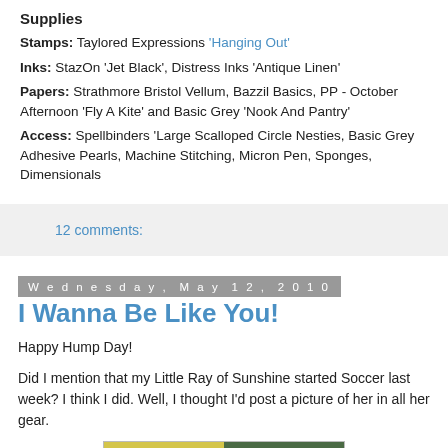Supplies
Stamps: Taylored Expressions 'Hanging Out'
Inks: StazOn 'Jet Black', Distress Inks 'Antique Linen'
Papers: Strathmore Bristol Vellum, Bazzil Basics, PP - October Afternoon 'Fly A Kite' and Basic Grey 'Nook And Pantry'
Access: Spellbinders 'Large Scalloped Circle Nesties, Basic Grey Adhesive Pearls, Machine Stitching, Micron Pen, Sponges, Dimensionals
12 comments:
Wednesday, May 12, 2010
I Wanna Be Like You!
Happy Hump Day!
Did I mention that my Little Ray of Sunshine started Soccer last week? I think I did. Well, I thought I'd post a picture of her in all her gear.
[Figure (photo): Partial photo visible at bottom of page, showing yellow and green/dark sections, appears to be a child in soccer gear]